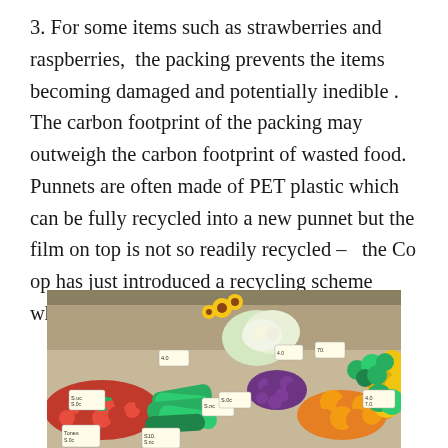3. For some items such as strawberries and raspberries,  the packing prevents the items becoming damaged and potentially inedible . The carbon footprint of the packing may outweigh the carbon footprint of wasted food. Punnets are often made of PET plastic which can be fully recycled into a new punnet but the film on top is not so readily recycled –  the Co op has just introduced a recycling scheme which accepts all scrunchable plastics.
[Figure (photo): A colorful market stall display of fresh fruits and vegetables including strawberries, cucumbers, cauliflower, grapes, oranges, lemons, and other produce with small price tags.]